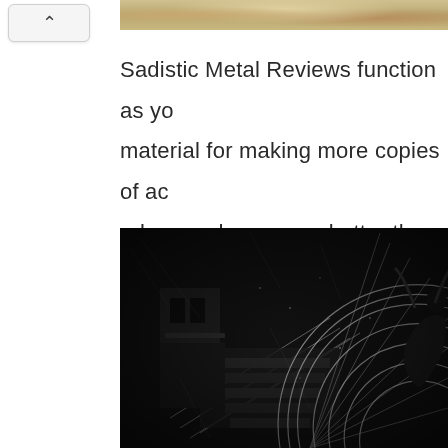[Figure (photo): Partial view of a colorful image at the top right, appearing to show some objects with warm tones]
Sadistic Metal Reviews function as yo material for making more copies of ac releases deserve no better than to be space and resources on completely u
[Figure (photo): Dark monochromatic image showing stairs or steps in a gritty, industrial setting with circular arc/fan shapes overlay, creatures or figures visible on the right side, black and white high contrast artistic photograph]